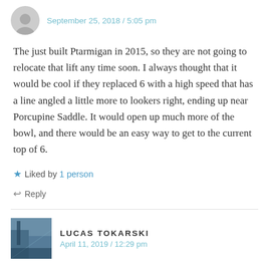September 25, 2018 / 5:05 pm
The just built Ptarmigan in 2015, so they are not going to relocate that lift any time soon. I always thought that it would be cool if they replaced 6 with a high speed that has a line angled a little more to lookers right, ending up near Porcupine Saddle. It would open up much more of the bowl, and there would be an easy way to get to the current top of 6.
★ Liked by 1 person
↩ Reply
LUCAS TOKARSKI
April 11, 2019 / 12:29 pm
Exactly what I'm thinking, but instead of a